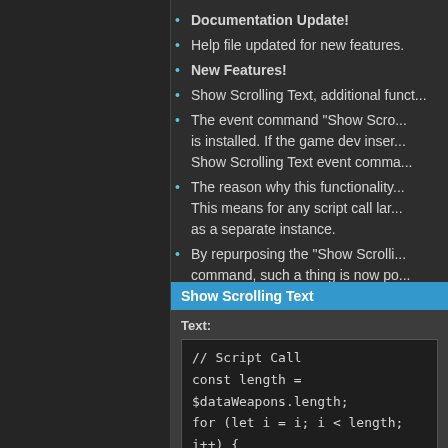Documentation Update!
Help file updated for new features.
New Features!
Show Scrolling Text, additional funct...
The event command "Show Scro... is installed. If the game dev inser... Show Scrolling Text event comma...
The reason why this functionality... This means for any script call lar... as a separate instance.
By repurposing the "Show Scrolli... command, such a thing is now po...
This effect does not occur if the S...
[Figure (screenshot): Show Scrolling Text dialog panel with title bar, Text label, and code editor showing // Script Call, const length = $dataWeapons.length;, for (let i = i; i < length; i++) {]